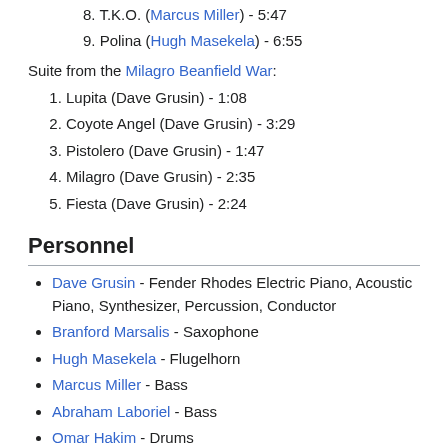8. T.K.O. (Marcus Miller) - 5:47
9. Polina (Hugh Masekela) - 6:55
Suite from the Milagro Beanfield War:
1. Lupita (Dave Grusin) - 1:08
2. Coyote Angel (Dave Grusin) - 3:29
3. Pistolero (Dave Grusin) - 1:47
4. Milagro (Dave Grusin) - 2:35
5. Fiesta (Dave Grusin) - 2:24
Personnel
Dave Grusin - Fender Rhodes Electric Piano, Acoustic Piano, Synthesizer, Percussion, Conductor
Branford Marsalis - Saxophone
Hugh Masekela - Flugelhorn
Marcus Miller - Bass
Abraham Laboriel - Bass
Omar Hakim - Drums
Harvey Mason - Drums